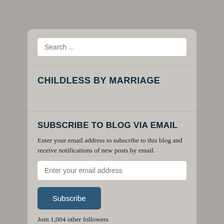Search ...
CHILDLESS BY MARRIAGE
SUBSCRIBE TO BLOG VIA EMAIL
Enter your email address to subscribe to this blog and receive notifications of new posts by email.
Enter your email address
Subscribe
Join 1,004 other followers